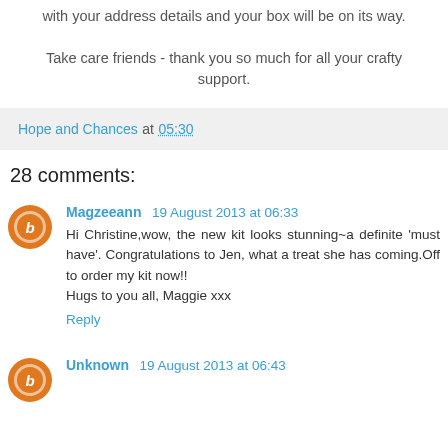with your address details and your box will be on its way.

Take care friends - thank you so much for all your crafty support.
Hope and Chances at 05:30
28 comments:
Magzeeann 19 August 2013 at 06:33
Hi Christine,wow, the new kit looks stunning~a definite 'must have'. Congratulations to Jen, what a treat she has coming.Off to order my kit now!!
Hugs to you all, Maggie xxx
Reply
Unknown 19 August 2013 at 06:43